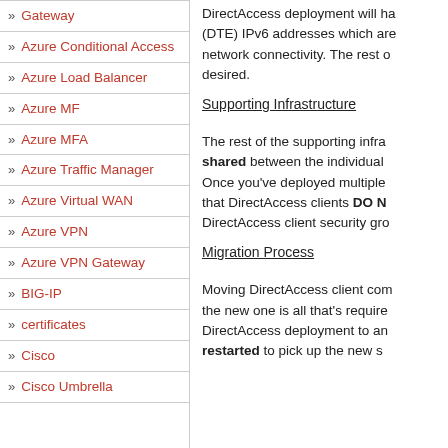Gateway
Azure Conditional Access
Azure Load Balancer
Azure MF
Azure MFA
Azure Traffic Manager
Azure Virtual WAN
Azure VPN
Azure VPN Gateway
BIG-IP
certificates
Cisco
Cisco Umbrella
DirectAccess deployment will ha (DTE) IPv6 addresses which are network connectivity. The rest o desired.
Supporting Infrastructure
The rest of the supporting infra shared between the individual Once you've deployed multiple that DirectAccess clients DO N DirectAccess client security gro
Migration Process
Moving DirectAccess client com the new one is all that's require DirectAccess deployment to an restarted to pick up the new s